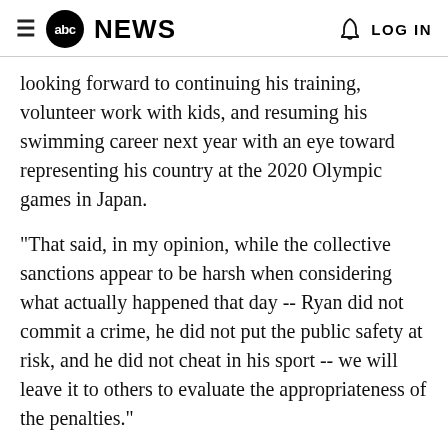abc NEWS  LOG IN
looking forward to continuing his training, volunteer work with kids, and resuming his swimming career next year with an eye toward representing his country at the 2020 Olympic games in Japan.
"That said, in my opinion, while the collective sanctions appear to be harsh when considering what actually happened that day -- Ryan did not commit a crime, he did not put the public safety at risk, and he did not cheat in his sport -- we will leave it to others to evaluate the appropriateness of the penalties."
In the partial footer text visible at bottom of page